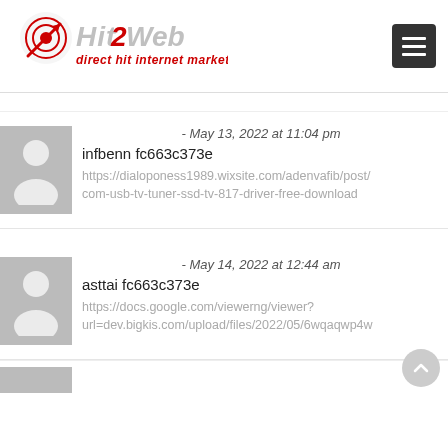[Figure (logo): Hit2Web logo with tagline 'direct hit internet marketing' in red and gray]
- May 13, 2022 at 11:04 pm
infbenn fc663c373e
https://dialoponess1989.wixsite.com/adenvafib/post/com-usb-tv-tuner-ssd-tv-817-driver-free-download
- May 14, 2022 at 12:44 am
asttai fc663c373e
https://docs.google.com/viewerng/viewer?url=dev.bigkis.com/upload/files/2022/05/6wqaqwp4w